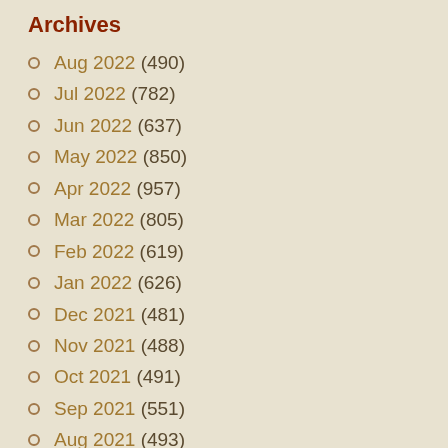Archives
Aug 2022 (490)
Jul 2022 (782)
Jun 2022 (637)
May 2022 (850)
Apr 2022 (957)
Mar 2022 (805)
Feb 2022 (619)
Jan 2022 (626)
Dec 2021 (481)
Nov 2021 (488)
Oct 2021 (491)
Sep 2021 (551)
Aug 2021 (493)
Jul 2021 (405)